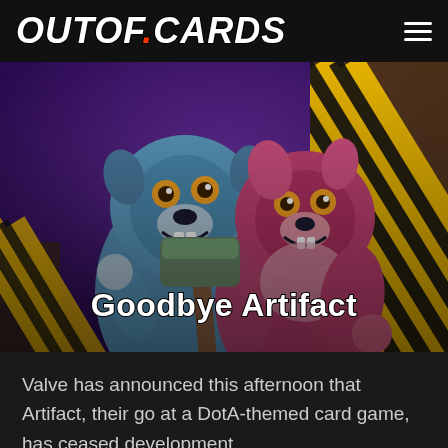OUTOF.CARDS
[Figure (illustration): Two cartoon monster creatures (one blue, one pink/magenta) smiling and holding a large hammer/mallet, posed in front of yellow-black hazard stripes. Purple background. Title overlay reads 'Goodbye Artifact'.]
Goodbye Artifact
Valve has announced this afternoon that Artifact, their go at a DotA-themed card game, has ceased development.